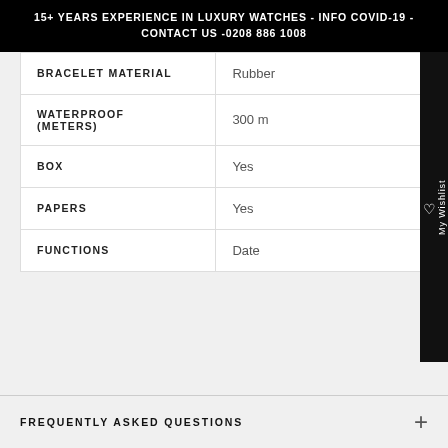15+ YEARS EXPERIENCE IN LUXURY WATCHES - INFO COVID-19 - CONTACT US -0208 886 1008
| Property | Value |
| --- | --- |
| BRACELET MATERIAL | Rubber |
| WATERPROOF (METERS) | 300 m |
| BOX | Yes |
| PAPERS | Yes |
| FUNCTIONS | Date |
FREQUENTLY ASKED QUESTIONS